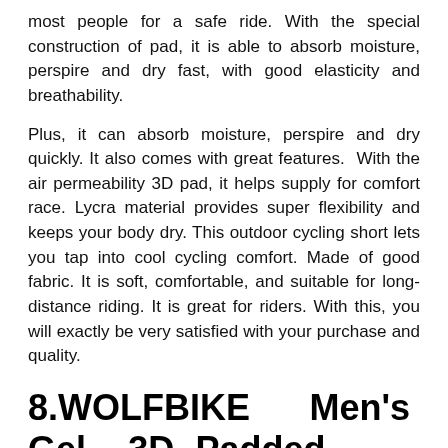most people for a safe ride. With the special construction of pad, it is able to absorb moisture, perspire and dry fast, with good elasticity and breathability.
Plus, it can absorb moisture, perspire and dry quickly. It also comes with great features.  With the air permeability 3D pad, it helps supply for comfort race. Lycra material provides super flexibility and keeps your body dry. This outdoor cycling short lets you tap into cool cycling comfort. Made of good fabric. It is soft, comfortable, and suitable for long-distance riding. It is great for riders. With this, you will exactly be very satisfied with your purchase and quality.
8.WOLFBIKE Men's Gel 3D Padded Bicycle Cycling Underwear Compression Shorts